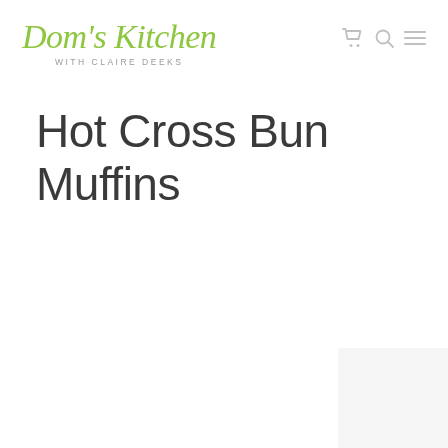Dom's Kitchen WITH CLAIRE DEEKS
Hot Cross Bun Muffins